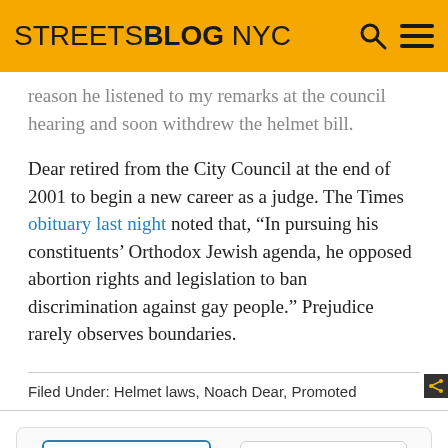STREETSBLOG NYC
reason he listened to my remarks at the council hearing and soon withdrew the helmet bill.
Dear retired from the City Council at the end of 2001 to begin a new career as a judge. The Times obituary last night noted that, “In pursuing his constituents’ Orthodox Jewish agenda, he opposed abortion rights and legislation to ban discrimination against gay people.” Prejudice rarely observes boundaries.
Filed Under: Helmet laws, Noach Dear, Promoted